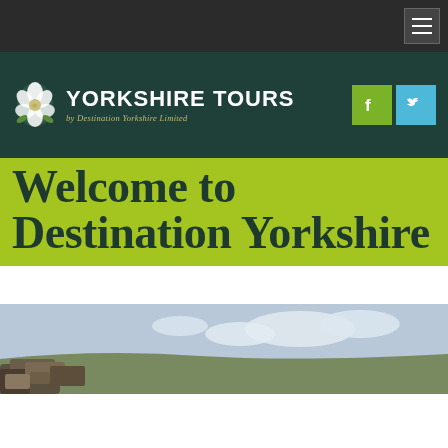[Figure (screenshot): Dark navigation bar with hamburger menu icon in top right corner]
[Figure (logo): Yorkshire Tours by Destination Yorkshire Limited logo with white rose icon and Facebook/Twitter social media icons on dark green background]
Welcome to Destination Yorkshire
[Figure (photo): Landscape photo showing rocky limestone pavement in foreground with moorland and cloudy sky in background]